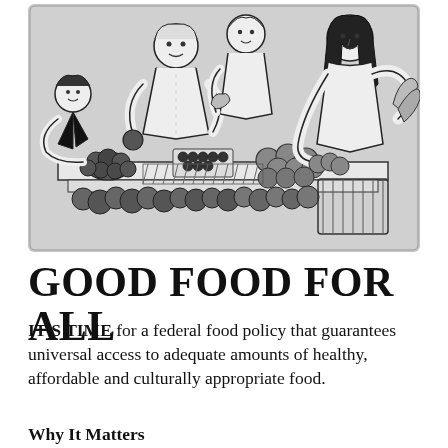[Figure (illustration): Black and white illustration of a diverse group of people shopping at a produce market stand, examining fruits and vegetables including tomatoes, grapes, and leafy greens.]
GOOD FOOD FOR ALL
IT'S TIME for a federal food policy that guarantees universal access to adequate amounts of healthy, affordable and culturally appropriate food.
Why It Matters